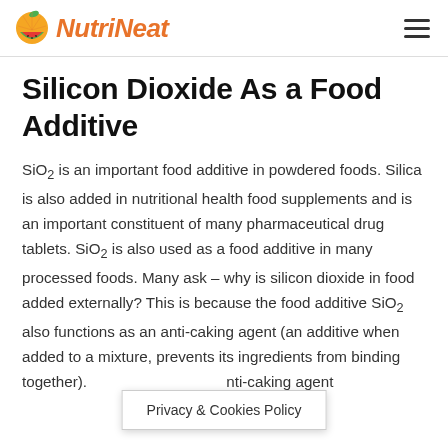NutriNeat
Silicon Dioxide As a Food Additive
SiO2 is an important food additive in powdered foods. Silica is also added in nutritional health food supplements and is an important constituent of many pharmaceutical drug tablets. SiO2 is also used as a food additive in many processed foods. Many ask – why is silicon dioxide in food added externally? This is because the food additive SiO2 also functions as an anti-caking agent (an additive when added to a mixture, prevents its ingredients from binding together). anti-caking agent
Privacy & Cookies Policy